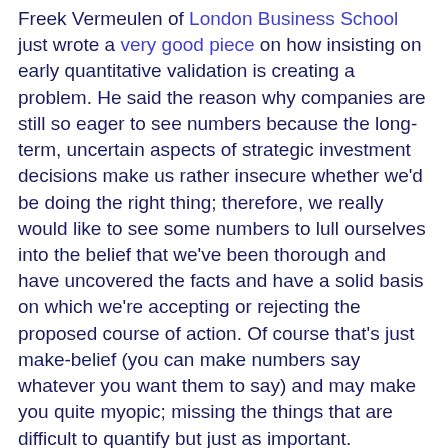Freek Vermeulen of London Business School just wrote a very good piece on how insisting on early quantitative validation is creating a problem. He said the reason why companies are still so eager to see numbers because the long-term, uncertain aspects of strategic investment decisions make us rather insecure whether we'd be doing the right thing; therefore, we really would like to see some numbers to lull ourselves into the belief that we've been thorough and have uncovered the facts and have a solid basis on which we're accepting or rejecting the proposed course of action. Of course that's just make-belief (you can make numbers say whatever you want them to say) and may make you quite myopic; missing the things that are difficult to quantify but just as important.
He is obviously not suggesting that we should get rid of numbers in strategy altogether. Heck no; forcing yourself to go through some sort of quantifying exercise can sometimes make you uncover and realize things that you hadn't thought of before. He suggests that once we've carefully and painstakingly produced all the numbers then toss them aside and sort of make a decision based on our gut feel and experience. Very good advice.
Don't miss an article (2,000+) - Subscribe to our RSS feed and